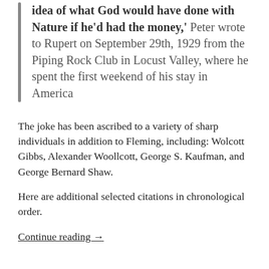'idea of what God would have done with Nature if he'd had the money,' Peter wrote to Rupert on September 29th, 1929 from the Piping Rock Club in Locust Valley, where he spent the first weekend of his stay in America
The joke has been ascribed to a variety of sharp individuals in addition to Fleming, including: Wolcott Gibbs, Alexander Woollcott, George S. Kaufman, and George Bernard Shaw.
Here are additional selected citations in chronological order.
Continue reading →